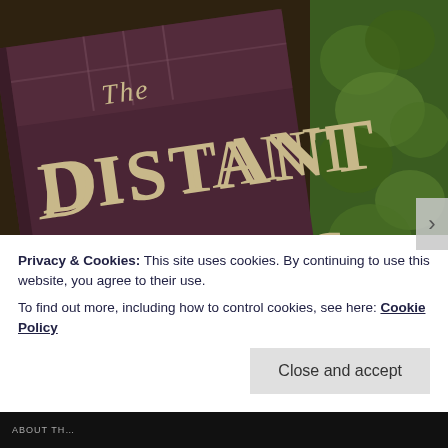[Figure (photo): Photograph of the book 'The Distant Hours' — a dark maroon/purple book cover with ornate serif lettering showing the title. The book is lying at an angle on a surface, with green foliage visible in the background to the right.]
I and say just one line and end the review right
Privacy & Cookies: This site uses cookies. By continuing to use this website, you agree to their use.
To find out more, including how to control cookies, see here: Cookie Policy
Close and accept